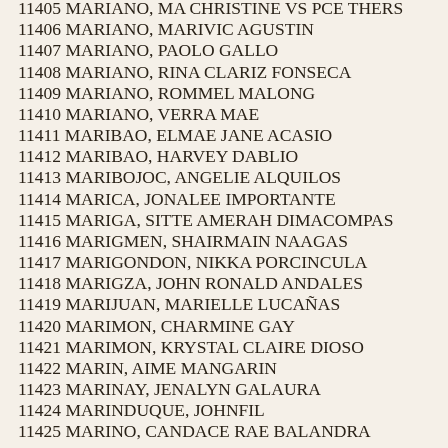11405 MARIANO, MA CHRISTINE VS PCE THERS
11406 MARIANO, MARIVIC AGUSTIN
11407 MARIANO, PAOLO GALLO
11408 MARIANO, RINA CLARIZ FONSECA
11409 MARIANO, ROMMEL MALONG
11410 MARIANO, VERRA MAE
11411 MARIBAO, ELMAE JANE ACASIO
11412 MARIBAO, HARVEY DABLIO
11413 MARIBOJOC, ANGELIE ALQUILOS
11414 MARICA, JONALEE IMPORTANTE
11415 MARIGA, SITTE AMERAH DIMACOMPAS
11416 MARIGMEN, SHAIRMAIN NAAGAS
11417 MARIGONDON, NIKKA PORCINCULA
11418 MARIGZA, JOHN RONALD ANDALES
11419 MARIJUAN, MARIELLE LUCAÑAS
11420 MARIMON, CHARMINE GAY
11421 MARIMON, KRYSTAL CLAIRE DIOSO
11422 MARIN, AIME MANGARIN
11423 MARINAY, JENALYN GALAURA
11424 MARINDUQUE, JOHNFIL
11425 MARINO, CANDACE RAE BALANDRA
11426 MARIPOSA, IRIS LAYSON
11427 MARISCAL, AILEEN DE LOS REYES